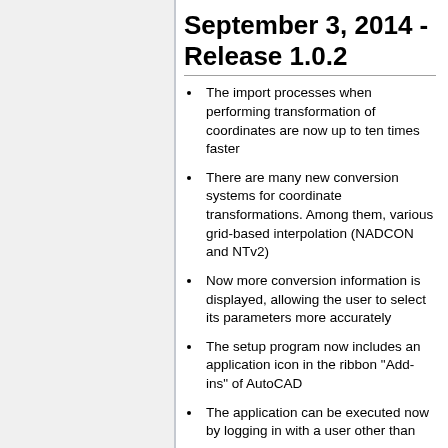September 3, 2014 - Release 1.0.2
The import processes when performing transformation of coordinates are now up to ten times faster
There are many new conversion systems for coordinate transformations. Among them, various grid-based interpolation (NADCON and NTv2)
Now more conversion information is displayed, allowing the user to select its parameters more accurately
The setup program now includes an application icon in the ribbon "Add-ins" of AutoCAD
The application can be executed now by logging in with a user other than